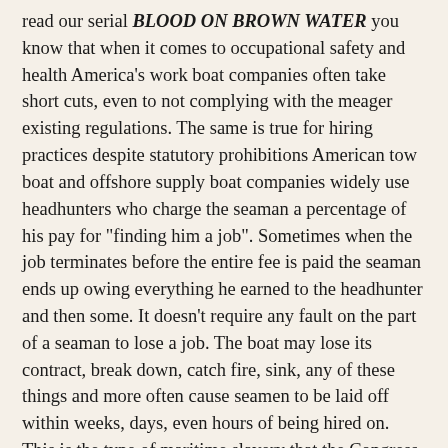read our serial BLOOD ON BROWN WATER you know that when it comes to occupational safety and health America's work boat companies often take short cuts, even to not complying with the meager existing regulations. The same is true for hiring practices despite statutory prohibitions American tow boat and offshore supply boat companies widely use headhunters who charge the seaman a percentage of his pay for "finding him a job". Sometimes when the job terminates before the entire fee is paid the seaman ends up owing everything he earned to the headhunter and then some. It doesn't require any fault on the part of a seaman to lose a job. The boat may lose its contract, break down, catch fire, sink, any of these things and more often cause seamen to be laid off within weeks, days, even hours of being hired on. This is the type of maritime slavery that the Congress had in mind when it outlawed most of these practices.
But the practice persists because of lax enforcement and it